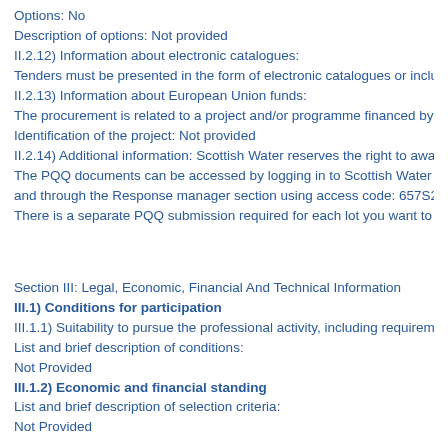Options: No
Description of options: Not provided
II.2.12) Information about electronic catalogues:
Tenders must be presented in the form of electronic catalogues or inclu
II.2.13) Information about European Union funds:
The procurement is related to a project and/or programme financed by
Identification of the project: Not provided
II.2.14) Additional information: Scottish Water reserves the right to awa
The PQQ documents can be accessed by logging in to Scottish Water
and through the Response manager section using access code: 657S2
There is a separate PQQ submission required for each lot you want to
Section III: Legal, Economic, Financial And Technical Information
III.1) Conditions for participation
III.1.1) Suitability to pursue the professional activity, including requireme
List and brief description of conditions:
Not Provided
III.1.2) Economic and financial standing
List and brief description of selection criteria:
Not Provided